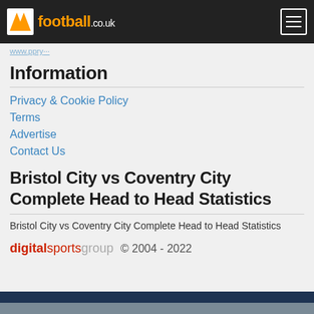football.co.uk
Privacy & Cookie Policy · Terms · Advertise · Contact Us
Information
Privacy & Cookie Policy
Terms
Advertise
Contact Us
Bristol City vs Coventry City Complete Head to Head Statistics
Bristol City vs Coventry City Complete Head to Head Statistics
digitalsportsgroup © 2004 - 2022